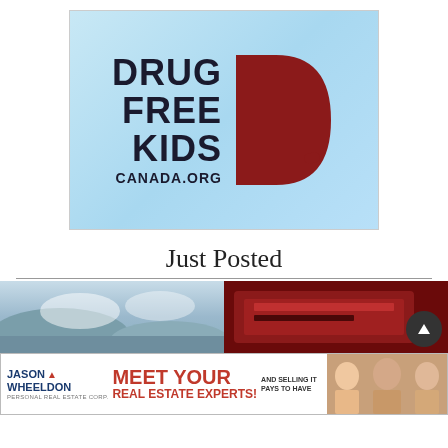[Figure (logo): Drug Free Kids Canada.org logo — light blue background with dark navy bold text 'DRUG FREE KIDS CANADA.ORG' and a large dark red letter D to the right]
Just Posted
[Figure (photo): Landscape photo showing mountains and cloudy sky on the left half, and a dark red/maroon interior scene on the right half]
[Figure (photo): Advertisement banner: Jason Wheeldon Meet Your Real Estate Experts with photos of agents]